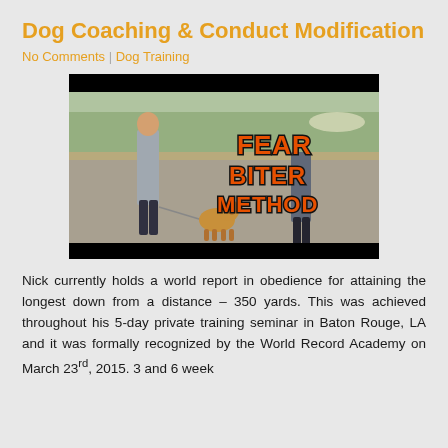Dog Coaching & Conduct Modification
No Comments | Dog Training
[Figure (photo): Video thumbnail showing two men and a dog on a leash in an outdoor training area. Large 'Fear Biter Method' text overlay in orange with black outline on the right side. Black letterbox bars at top and bottom.]
Nick currently holds a world report in obedience for attaining the longest down from a distance – 350 yards. This was achieved throughout his 5-day private training seminar in Baton Rouge, LA and it was formally recognized by the World Record Academy on March 23rd, 2015. 3 and 6 week